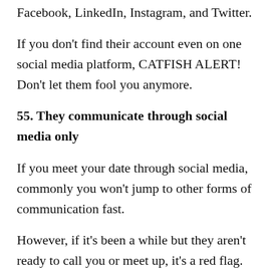Facebook, LinkedIn, Instagram, and Twitter.
If you don't find their account even on one social media platform, CATFISH ALERT! Don't let them fool you anymore.
55. They communicate through social media only
If you meet your date through social media, commonly you won't jump to other forms of communication fast.
However, if it's been a while but they aren't ready to call you or meet up, it's a red flag. You're probably a catfish victim in this scenario.